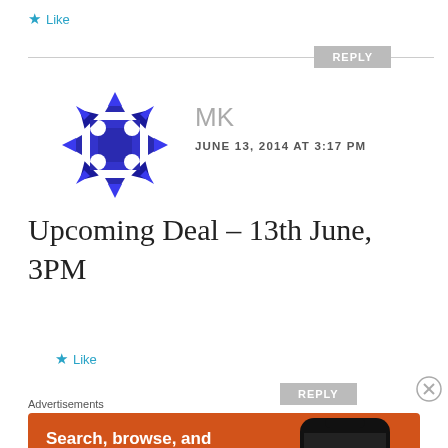★ Like
REPLY
[Figure (illustration): Blue and purple circular avatar icon for user MK, consisting of a geometric checkerboard-style sphere made of dark blue/purple triangular pieces]
MK
JUNE 13, 2014 AT 3:17 PM
Upcoming Deal – 13th June, 3PM
★ Like
REPLY
Advertisements
[Figure (other): DuckDuckGo advertisement banner with orange background showing 'Search, browse, and email with more privacy. All in One Free App' text with a DuckDuckGo app on a smartphone mockup]